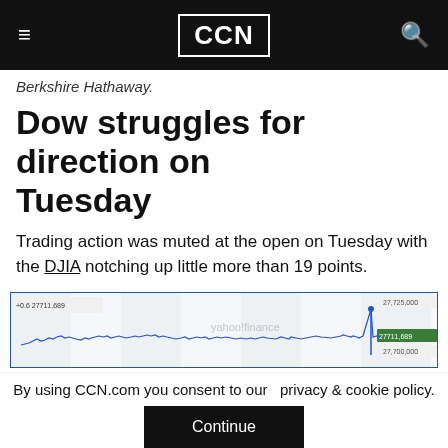CCN
Berkshire Hathaway.
Dow struggles for direction on Tuesday
Trading action was muted at the open on Tuesday with the DJIA notching up little more than 19 points.
[Figure (continuous-plot): Line chart showing DJIA intraday trading, with price around 27,711-27,725 range, displayed via Yahoo Finance widget. Y-axis shows values 27,725,000 and 27,700,000.]
By using CCN.com you consent to our  privacy & cookie policy.
Continue